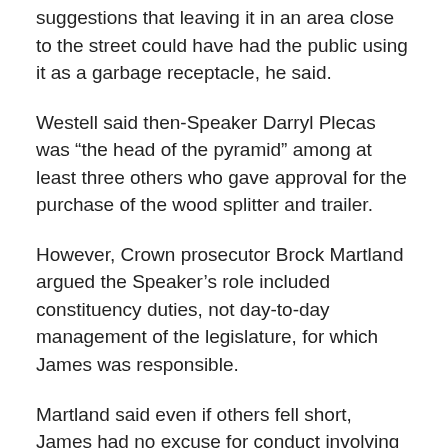suggestions that leaving it in an area close to the street could have had the public using it as a garbage receptacle, he said.
Westell said then-Speaker Darryl Plecas was “the head of the pyramid” among at least three others who gave approval for the purchase of the wood splitter and trailer.
However, Crown prosecutor Brock Martland argued the Speaker's role included constituency duties, not day-to-day management of the legislature, for which James was responsible.
Martland said even if others fell short, James had no excuse for conduct involving improper claims that should not have been advanced.
He said, James had a “consistent theme of